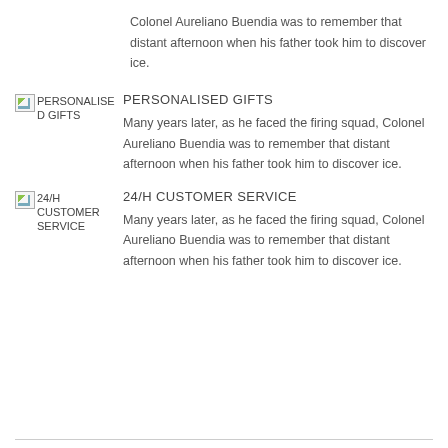Colonel Aureliano Buendia was to remember that distant afternoon when his father took him to discover ice.
[Figure (illustration): Broken image placeholder labeled PERSONALISED GIFTS]
PERSONALISED GIFTS
Many years later, as he faced the firing squad, Colonel Aureliano Buendia was to remember that distant afternoon when his father took him to discover ice.
[Figure (illustration): Broken image placeholder labeled 24/H CUSTOMER SERVICE]
24/H CUSTOMER SERVICE
Many years later, as he faced the firing squad, Colonel Aureliano Buendia was to remember that distant afternoon when his father took him to discover ice.